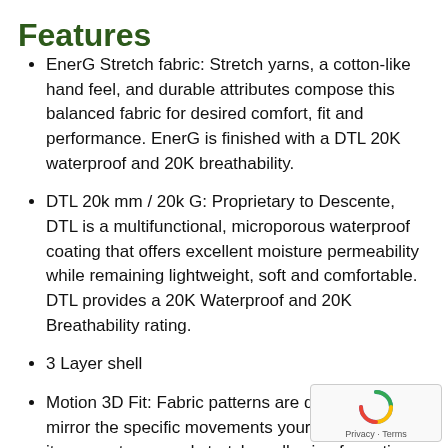Features
EnerG Stretch fabric: Stretch yarns, a cotton-like hand feel, and durable attributes compose this balanced fabric for desired comfort, fit and performance. EnerG is finished with a DTL 20K waterproof and 20K breathability.
DTL 20k mm / 20k G: Proprietary to Descente, DTL is a multifunctional, microporous waterproof coating that offers excellent moisture permeability while remaining lightweight, soft and comfortable. DTL provides a 20K Waterproof and 20K Breathability rating.
3 Layer shell
Motion 3D Fit: Fabric patterns are designed to mirror the specific movements your body makes as it moves, turns, and stretches allowing for optimal performance. All of Descente's products contain Motion 3D patterns to create a fit and feel that is